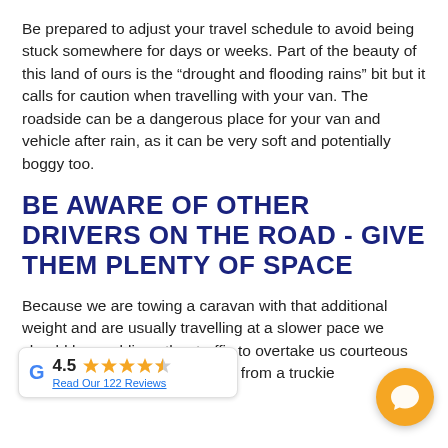Be prepared to adjust your travel schedule to avoid being stuck somewhere for days or weeks. Part of the beauty of this land of ours is the “drought and flooding rains” bit but it calls for caution when travelling with your van. The roadside can be a dangerous place for your van and vehicle after rain, as it can be very soft and potentially boggy too.
BE AWARE OF OTHER DRIVERS ON THE ROAD - GIVE THEM PLENTY OF SPACE
Because we are towing a caravan with that additional weight and are usually travelling at a slower pace we should be enabling other traffic to overtake us courteous thing to do. It is so wave or toot from a truckie
[Figure (other): Google review widget showing 4.5 stars rating and 122 reviews]
[Figure (other): Orange circular chat/message bubble icon button]